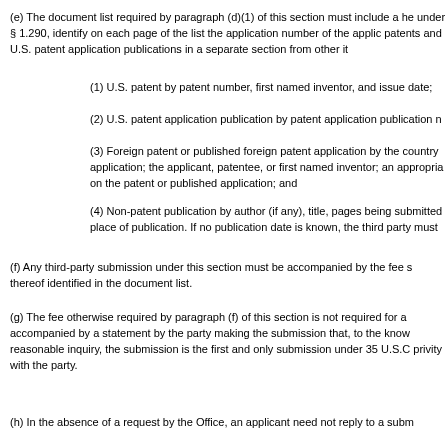(e) The document list required by paragraph (d)(1) of this section must include a he under § 1.290, identify on each page of the list the application number of the applic patents and U.S. patent application publications in a separate section from other it
(1) U.S. patent by patent number, first named inventor, and issue date;
(2) U.S. patent application publication by patent application publication n
(3) Foreign patent or published foreign patent application by the country application; the applicant, patentee, or first named inventor; an appropria on the patent or published application; and
(4) Non-patent publication by author (if any), title, pages being submitted place of publication. If no publication date is known, the third party must
(f) Any third-party submission under this section must be accompanied by the fee s thereof identified in the document list.
(g) The fee otherwise required by paragraph (f) of this section is not required for a accompanied by a statement by the party making the submission that, to the know reasonable inquiry, the submission is the first and only submission under 35 U.S.C privity with the party.
(h) In the absence of a request by the Office, an applicant need not reply to a subm